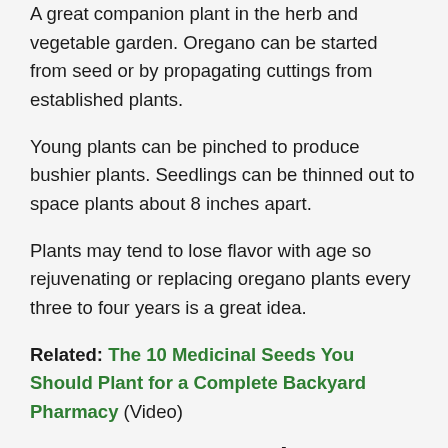A great companion plant in the herb and vegetable garden. Oregano can be started from seed or by propagating cuttings from established plants.
Young plants can be pinched to produce bushier plants. Seedlings can be thinned out to space plants about 8 inches apart.
Plants may tend to lose flavor with age so rejuvenating or replacing oregano plants every three to four years is a great idea.
Related: The 10 Medicinal Seeds You Should Plant for a Complete Backyard Pharmacy (Video)
How To Harvest Origanum Vulgare
The best time of day to harvest oregano leaves is during the warmest part of the day when all the